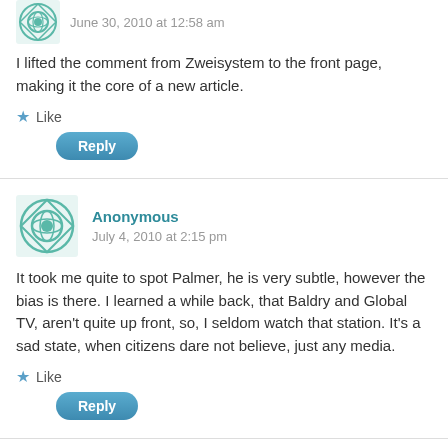June 30, 2010 at 12:58 am
I lifted the comment from Zweisystem to the front page, making it the core of a new article.
★ Like
Reply
Anonymous
July 4, 2010 at 2:15 pm
It took me quite to spot Palmer, he is very subtle, however the bias is there. I learned a while back, that Baldry and Global TV, aren't quite up front, so, I seldom watch that station. It's a sad state, when citizens dare not believe, just any media.
★ Like
Reply
paisley